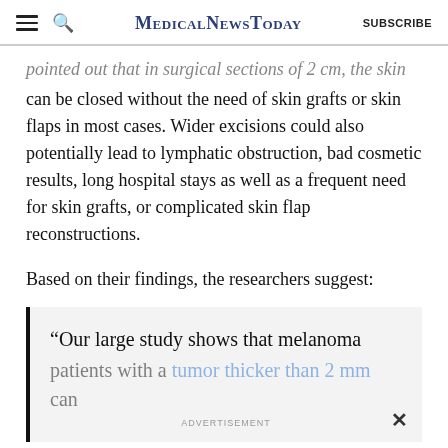MedicalNewsToday SUBSCRIBE
pointed out that in surgical sections of 2 cm, the skin can be closed without the need of skin grafts or skin flaps in most cases. Wider excisions could also potentially lead to lymphatic obstruction, bad cosmetic results, long hospital stays as well as a frequent need for skin grafts, or complicated skin flap reconstructions.
Based on their findings, the researchers suggest:
“Our large study shows that melanoma patients with a tumor thicker than 2 mm can